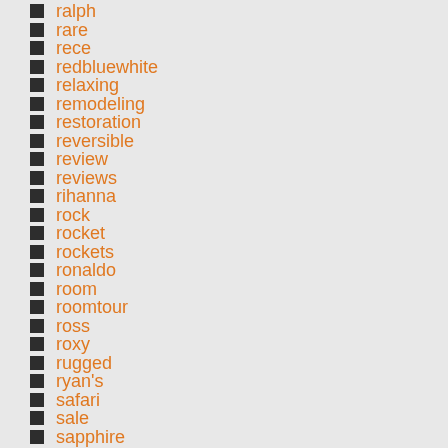ralph
rare
rece
redbluewhite
relaxing
remodeling
restoration
reversible
review
reviews
rihanna
rock
rocket
rockets
ronaldo
room
roomtour
ross
roxy
rugged
ryan's
safari
sale
sapphire